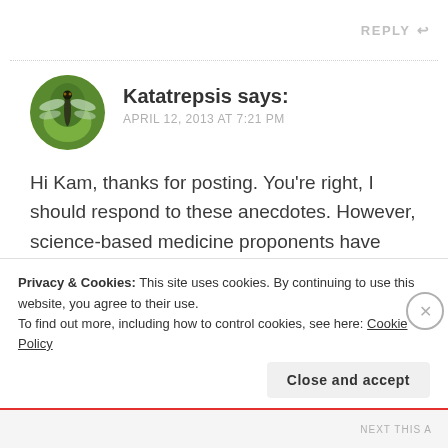REPLY
[Figure (photo): Circular avatar photo of a dragonfly on a twig against a green background]
Katatrepsis says:
APRIL 12, 2013 AT 7:21 PM
Hi Kam, thanks for posting. You’re right, I should respond to these anecdotes. However, science-based medicine proponents have already responded to this kind of argument. Here is a nice, simple, but comprehensive list of reasons why “amazing stories” should not be used (on
Privacy & Cookies: This site uses cookies. By continuing to use this website, you agree to their use.
To find out more, including how to control cookies, see here: Cookie Policy
Close and accept